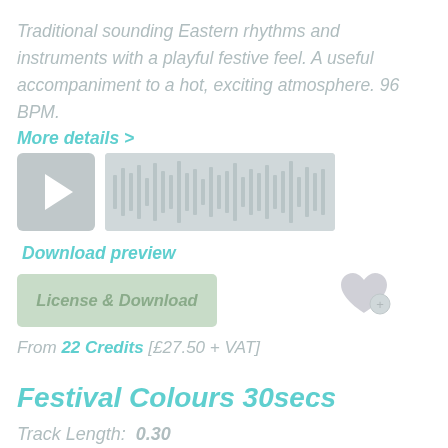Traditional sounding Eastern rhythms and instruments with a playful festive feel. A useful accompaniment to a hot, exciting atmosphere. 96 BPM.
More details >
[Figure (other): Audio player with play button and waveform display]
Download preview
License & Download
From 22 Credits [£27.50 + VAT]
Festival Colours 30secs
Track Length:  0.30